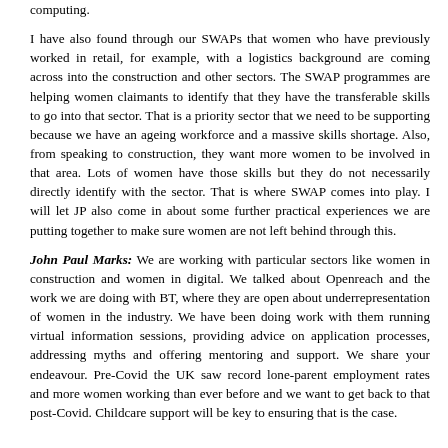computing.
I have also found through our SWAPs that women who have previously worked in retail, for example, with a logistics background are coming across into the construction and other sectors. The SWAP programmes are helping women claimants to identify that they have the transferable skills to go into that sector. That is a priority sector that we need to be supporting because we have an ageing workforce and a massive skills shortage. Also, from speaking to construction, they want more women to be involved in that area. Lots of women have those skills but they do not necessarily directly identify with the sector. That is where SWAP comes into play. I will let JP also come in about some further practical experiences we are putting together to make sure women are not left behind through this.
John Paul Marks: We are working with particular sectors like women in construction and women in digital. We talked about Openreach and the work we are doing with BT, where they are open about underrepresentation of women in the industry. We have been doing work with them running virtual information sessions, providing advice on application processes, addressing myths and offering mentoring and support. We share your endeavour. Pre-Covid the UK saw record lone-parent employment rates and more women working than ever before and we want to get back to that post-Covid. Childcare support will be key to ensuring that is the case.